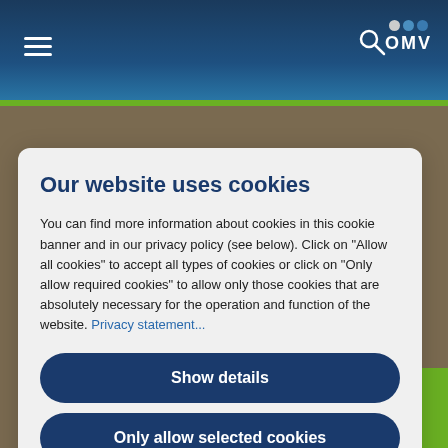[Figure (screenshot): OMV website navigation bar with hamburger menu, search icon, and OMV logo on dark blue gradient background with green accent bar]
[Figure (photo): Background photo of outdoor scene, partially visible behind cookie consent modal]
Our website uses cookies
You can find more information about cookies in this cookie banner and in our privacy policy (see below). Click on "Allow all cookies" to accept all types of cookies or click on "Only allow required cookies" to allow only those cookies that are absolutely necessary for the operation and function of the website. Privacy statement...
Show details
Only allow selected cookies
Allow all cookies